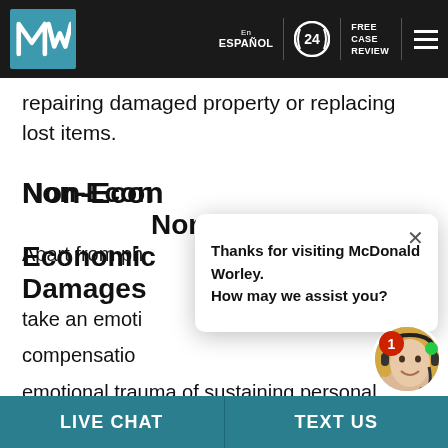McDonald Worley Law Firm — En Español | 24 | Free Case Review
repairing damaged property or replacing lost items.
Non-Economic Damages
Apart from physical damages, accidents can also take an emotional toll on the victims. To provide compensation for... emotional trauma of sustaining personal injuries. Common examples of this type of compensation include pain and suffering, loss of enjoyment of life...
[Figure (screenshot): Chat popup overlay with close button (×) and text: Thanks for visiting McDonald Worley. How may we assist you?]
LIVE CHAT | TEXT US